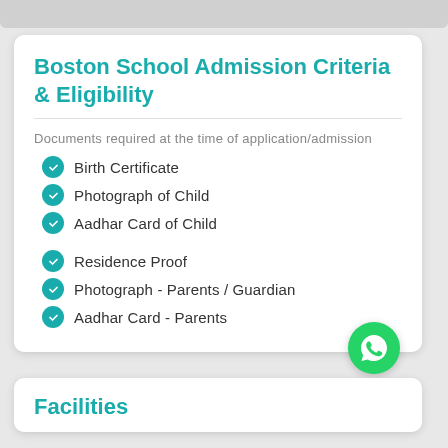Boston School Admission Criteria & Eligibility
Documents required at the time of application/admission
Birth Certificate
Photograph of Child
Aadhar Card of Child
Residence Proof
Photograph - Parents / Guardian
Aadhar Card - Parents
Facilities